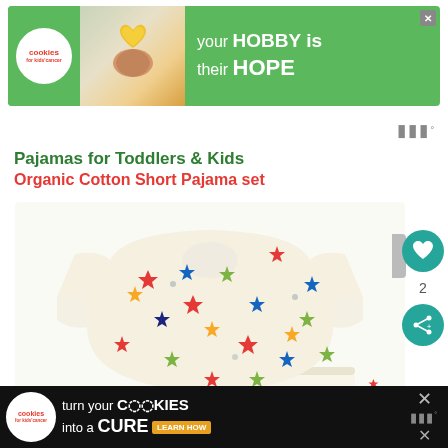[Figure (illustration): Top advertisement banner: green background with 'cookies for kids cancer' logo (white circle with red text), photo of person holding a yellow heart-shaped cookie, text 'your HOBBY is their HOPE' in white. Close X button top right.]
[Figure (illustration): Toolbar area with stacked dots/menu icon with superscript degree symbol on right side]
Pajamas for Toddlers & Kids
Organic Cotton Short Pajama set
[Figure (photo): Product photo of white/cream short-sleeve pajama set with colorful stars (red, blue, green, yellow, navy) printed all over, showing t-shirt top and matching shorts on white background]
[Figure (illustration): Right sidebar: teal heart button (favorite/wishlist) with gray bar tab, number '2' below, teal share button]
[Figure (illustration): Bottom advertisement banner: black background with 'cookies for kids cancer' logo, text 'turn your COOKIES into a CURE LEARN HOW', close X button and dots menu icon on right]